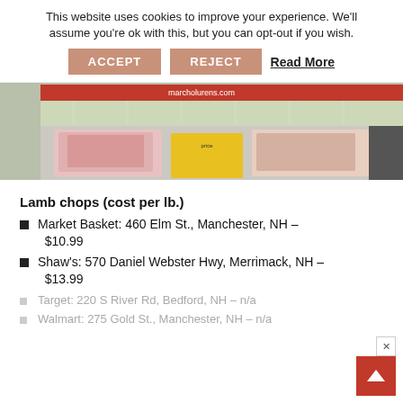This website uses cookies to improve your experience. We'll assume you're ok with this, but you can opt-out if you wish.
ACCEPT   REJECT   Read More
[Figure (photo): Photo of meat products in a refrigerated display case in a supermarket, with a red marcholurens.com banner visible at the top, and a yellow price tag on the meat packages.]
Lamb chops (cost per lb.)
Market Basket: 460 Elm St., Manchester, NH – $10.99
Shaw's: 570 Daniel Webster Hwy, Merrimack, NH – $13.99
Target: 220 S River Rd, Bedford, NH – n/a
Walmart: 275 Gold St., Manchester, NH – n/a